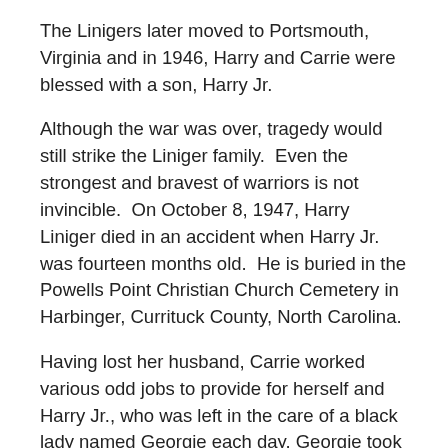The Linigers later moved to Portsmouth, Virginia and in 1946, Harry and Carrie were blessed with a son, Harry Jr.
Although the war was over, tragedy would still strike the Liniger family.  Even the strongest and bravest of warriors is not invincible.  On October 8, 1947, Harry Liniger died in an accident when Harry Jr. was fourteen months old.  He is buried in the Powells Point Christian Church Cemetery in Harbinger, Currituck County, North Carolina.
Having lost her husband, Carrie worked various odd jobs to provide for herself and Harry Jr., who was left in the care of a black lady named Georgie each day. Georgie took very good care of Harry Jr., and Carrie held her in high esteem. Carrie came from a large family with six brothers and sisters.  At one point in time, Carrie and Harry Jr. went to live with one of Carrie's sisters.